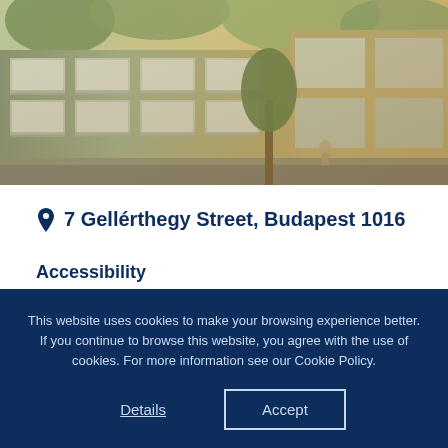[Figure (photo): Exterior photograph of a modern apartment building with balconies and greenery, warm sunlit tones, tree-lined walkway.]
7 Gellérthegy Street, Budapest 1016
Accessibility
– 19, 56 trams
– 105, 178 and 5 buses
This website uses cookies to make your browsing experience better. If you continue to browse this website, you agree with the use of cookies. For more information see our Cookie Policy.
Details
Accept